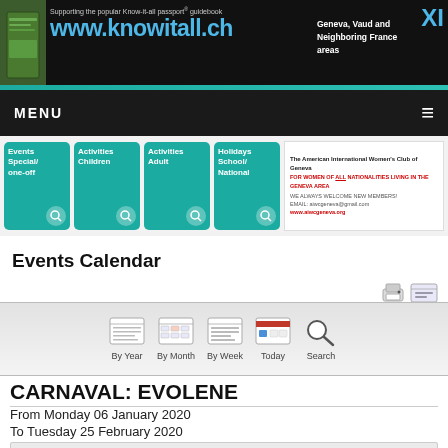[Figure (screenshot): Website banner for knowitall.ch — Supporting the popular Know-it-all passport guidebook, www.knowitall.ch, Geneva, Vaud and Neighboring France areas, with XI logo]
MENU
[Figure (screenshot): Navigation tiles: Events Special/one-off, Activities Children, Activities Adult, Holidays School/National, and AIWCG advertisement]
Events Calendar
[Figure (screenshot): Calendar navigation bar with By Year, By Month, By Week, Today, Search options]
CARNAVAL: EVOLENE
From Monday 06 January 2020
To Tuesday 25 February 2020